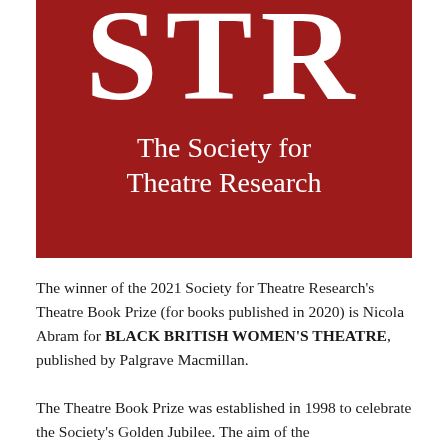[Figure (logo): Dark red/crimson rectangular logo block showing 'STR' in large white serif letters at the top, and below it 'The Society for Theatre Research' in white serif text.]
The winner of the 2021 Society for Theatre Research's Theatre Book Prize (for books published in 2020) is Nicola Abram for BLACK BRITISH WOMEN'S THEATRE, published by Palgrave Macmillan.
The Theatre Book Prize was established in 1998 to celebrate the Society's Golden Jubilee. The aim of the